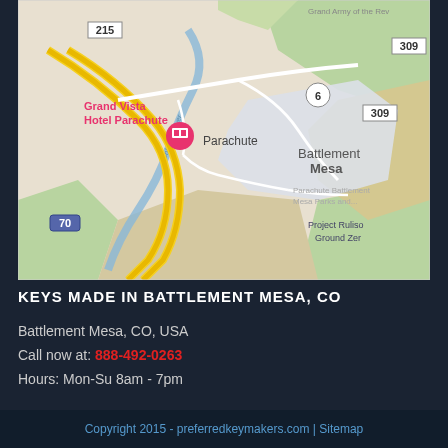[Figure (map): Google Maps screenshot showing Battlement Mesa, CO area with Parachute, Colorado River, highways 215, 6, 309, 70, Grand Army of the Republic road, Grand Vista Hotel Parachute marker, and Project Rulison Ground Zero label]
KEYS MADE IN BATTLEMENT MESA, CO
Battlement Mesa, CO, USA
Call now at: 888-492-0263
Hours: Mon-Su 8am - 7pm
Copyright 2015 - preferredkeymakers.com | Sitemap